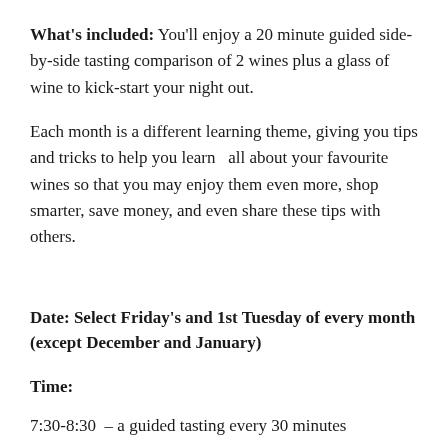What's included: You'll enjoy a 20 minute guided side-by-side tasting comparison of 2 wines plus a glass of wine to kick-start your night out.
Each month is a different learning theme, giving you tips and tricks to help you learn  all about your favourite wines so that you may enjoy them even more, shop smarter, save money, and even share these tips with others.
Date: Select Friday's and 1st Tuesday of every month (except December and January)
Time:
7:30-8:30  – a guided tasting every 30 minutes
8:30-10:30 – Social Friday-style dining